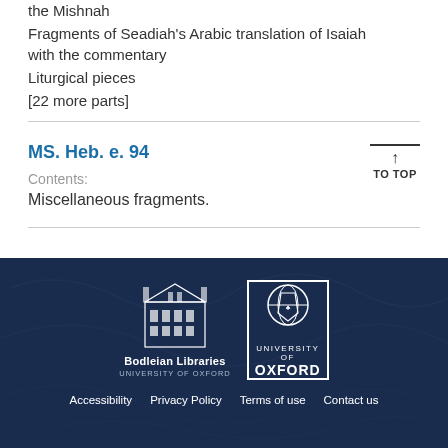the Mishnah
Fragments of Seadiah's Arabic translation of Isaiah with the commentary
Liturgical pieces
[22 more parts]
MS. Heb. e. 94
Contents:
Miscellaneous fragments.
Bodleian Libraries University of Oxford | University of Oxford | Accessibility | Privacy Policy | Terms of use | Contact us